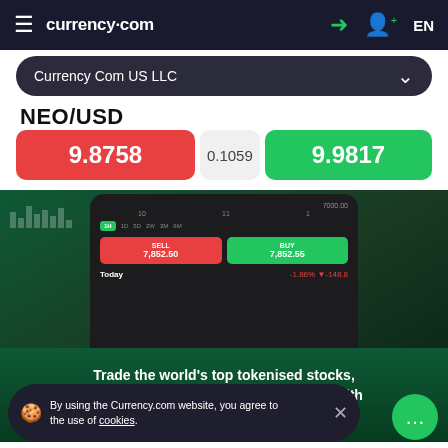currency.com  EN
Currency Com US LLC
NEO/USD
| SELL | SPREAD | BUY |
| --- | --- | --- |
| 9.8758 | 0.1059 | 9.9817 |
[Figure (screenshot): Mobile trading app screenshot showing SELL 7,852.50 and BUY 7,852.55 buttons with chart and Today -1.86% -148.8 row]
Trade the world's top tokenised stocks, indices, commodities and currencies with the help of crypto or fiat
By using the Currency.com website, you agree to the use of cookies.